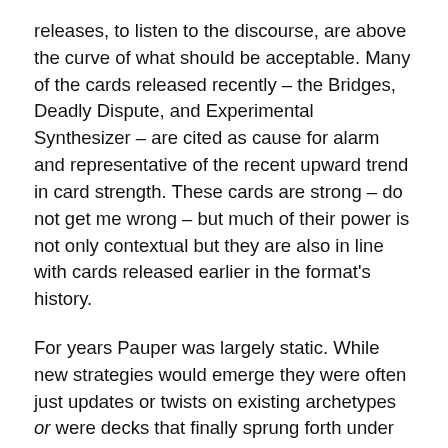releases, to listen to the discourse, are above the curve of what should be acceptable. Many of the cards released recently – the Bridges, Deadly Dispute, and Experimental Synthesizer – are cited as cause for alarm and representative of the recent upward trend in card strength. These cards are strong – do not get me wrong – but much of their power is not only contextual but they are also in line with cards released earlier in the format's history.
For years Pauper was largely static. While new strategies would emerge they were often just updates or twists on existing archetypes or were decks that finally sprung forth under the weight of too much synergy. It is hard for any common printed today to compete with the likes of Lightning Bolt, Counterspell, Priest of Titania, the Tron lands, and so on and so on.